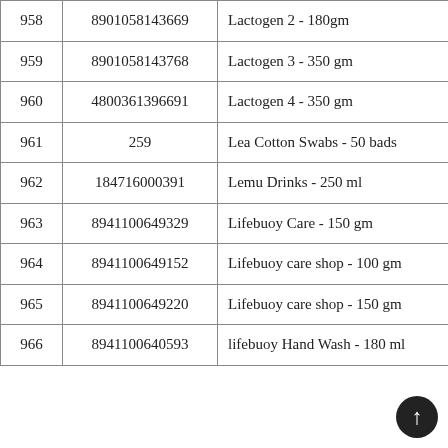| 958 | 8901058143669 | Lactogen 2 - 180gm |
| 959 | 8901058143768 | Lactogen 3 - 350 gm |
| 960 | 4800361396691 | Lactogen 4 - 350 gm |
| 961 | 259 | Lea Cotton Swabs - 50 bads |
| 962 | 184716000391 | Lemu Drinks - 250 ml |
| 963 | 8941100649329 | Lifebuoy Care - 150 gm |
| 964 | 8941100649152 | Lifebuoy care shop - 100 gm |
| 965 | 8941100649220 | Lifebuoy care shop - 150 gm |
| 966 | 8941100640593 | lifebuoy Hand Wash - 180 ml |